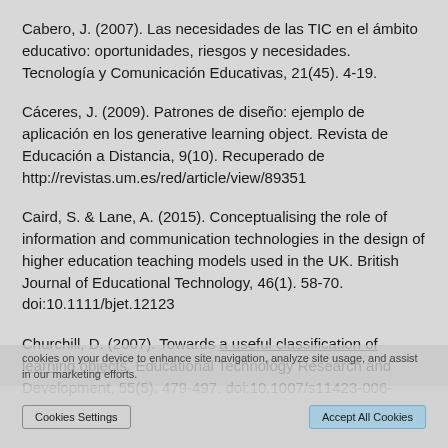Cabero, J. (2007). Las necesidades de las TIC en el ámbito educativo: oportunidades, riesgos y necesidades. Tecnología y Comunicación Educativas, 21(45). 4-19.
Cáceres, J. (2009). Patrones de diseño: ejemplo de aplicación en los generative learning object. Revista de Educación a Distancia, 9(10). Recuperado de http://revistas.um.es/red/article/view/89351
Caird, S. & Lane, A. (2015). Conceptualising the role of information and communication technologies in the design of higher education teaching models used in the UK. British Journal of Educational Technology, 46(1). 58-70. doi:10.1111/bjet.12123
Churchill, D. (2007). Towards a useful classification of learning objects. Educational Technology Research and Development, 55(5). 479-497. doi:10.1007/s11423-006-